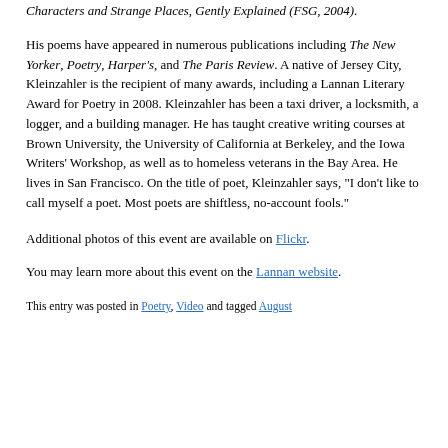Characters and Strange Places, Gently Explained (FSG, 2004).
His poems have appeared in numerous publications including The New Yorker, Poetry, Harper's, and The Paris Review. A native of Jersey City, Kleinzahler is the recipient of many awards, including a Lannan Literary Award for Poetry in 2008. Kleinzahler has been a taxi driver, a locksmith, a logger, and a building manager. He has taught creative writing courses at Brown University, the University of California at Berkeley, and the Iowa Writers' Workshop, as well as to homeless veterans in the Bay Area. He lives in San Francisco. On the title of poet, Kleinzahler says, "I don't like to call myself a poet. Most poets are shiftless, no-account fools."
Additional photos of this event are available on Flickr.
You may learn more about this event on the Lannan website.
This entry was posted in Poetry, Video and tagged August